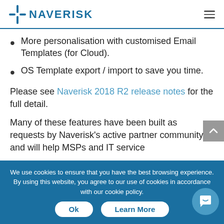NAVERISK
More personalisation with customised Email Templates (for Cloud).
OS Template export / import to save you time.
Please see Naverisk 2018 R2 release notes for the full detail.
Many of these features have been built as requests by Naverisk's active partner community and will help MSPs and IT service...
We use cookies to ensure that you have the best browsing experience. By using this website, you agree to our use of cookies in accordance with our cookie policy.